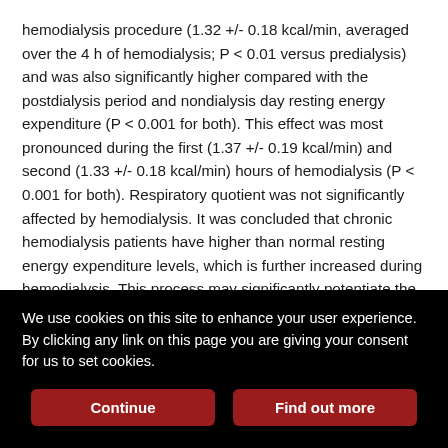hemodialysis procedure (1.32 +/- 0.18 kcal/min, averaged over the 4 h of hemodialysis; P < 0.01 versus predialysis) and was also significantly higher compared with the postdialysis period and nondialysis day resting energy expenditure (P < 0.001 for both). This effect was most pronounced during the first (1.37 +/- 0.19 kcal/min) and second (1.33 +/- 0.18 kcal/min) hours of hemodialysis (P < 0.001 for both). Respiratory quotient was not significantly affected by hemodialysis. It was concluded that chronic hemodialysis patients have higher than normal resting energy expenditure levels, which is further increased during hemodialysis. This process may significantly potentiate the protein-calorie malnutrition seen in this patient population.
We use cookies on this site to enhance your user experience. By clicking any link on this page you are giving your consent for us to set cookies.